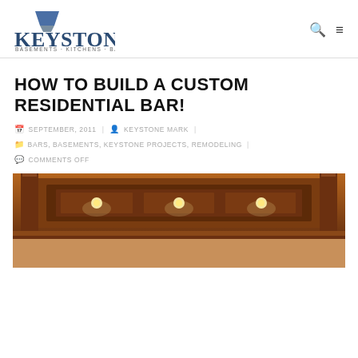Keystone Basements · Kitchens · Baths
HOW TO BUILD A CUSTOM RESIDENTIAL BAR!
SEPTEMBER, 2011 | KEYSTONE MARK |
BARS, BASEMENTS, KEYSTONE PROJECTS, REMODELING |
COMMENTS OFF
[Figure (photo): Interior photo of a custom dark wood residential bar with recessed lighting in a coffered soffit, showing ornate woodwork and columns]